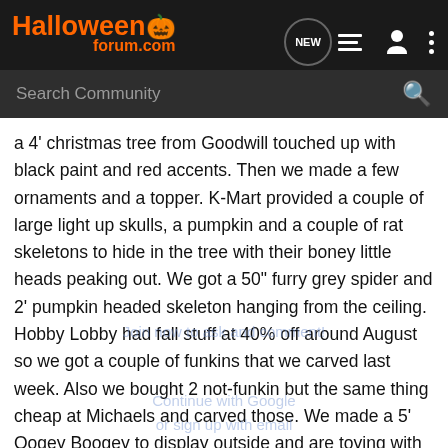[Figure (logo): HalloweenForum.com logo in orange text with pumpkin icon on dark background]
Search Community
a 4' christmas tree from Goodwill touched up with black paint and red accents. Then we made a few ornaments and a topper. K-Mart provided a couple of large light up skulls, a pumpkin and a couple of rat skeletons to hide in the tree with their boney little heads peaking out. We got a 50" furry grey spider and 2' pumpkin headed skeleton hanging from the ceiling. Hobby Lobby had fall stuff at 40% off around August so we got a couple of funkins that we carved last week. Also we bought 2 not-funkin but the same thing cheap at Michaels and carved those. We made a 5' Oogey Boogey to display outside and are toying with the idea of a small graveyard ( small like 5' x 5'). My wife made an awesome Sam candy jar, and I have a few other projects in different stages of completion. I've had to put most on hold to work on the treats for my secret reaper and finish my Joker costume.